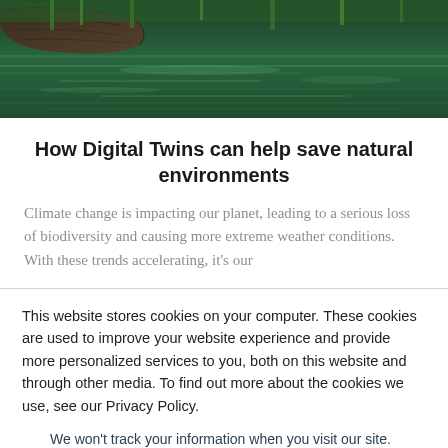[Figure (photo): Nature photo showing a log or driftwood near green water/river, dark tones with green reflections]
How Digital Twins can help save natural environments
Climate change is impacting our planet, leading to a serious loss of biodiversity and causing more extreme weather conditions. With these trends accelerating, it's our
This website stores cookies on your computer. These cookies are used to improve your website experience and provide more personalized services to you, both on this website and through other media. To find out more about the cookies we use, see our Privacy Policy.
We won't track your information when you visit our site. But in order to comply with your preferences, we'll have to use just one tiny cookie so that you're not asked to make this choice again.
Accept
Decline